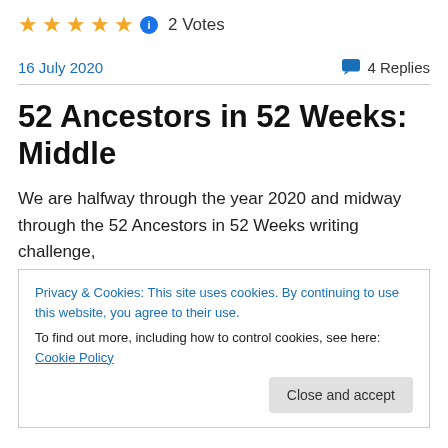[Figure (other): Five gold stars rating with info icon and '2 Votes' text]
16 July 2020    💬 4 Replies
52 Ancestors in 52 Weeks: Middle
We are halfway through the year 2020 and midway through the 52 Ancestors in 52 Weeks writing challenge,
Privacy & Cookies: This site uses cookies. By continuing to use this website, you agree to their use.
To find out more, including how to control cookies, see here: Cookie Policy
Close and accept
...